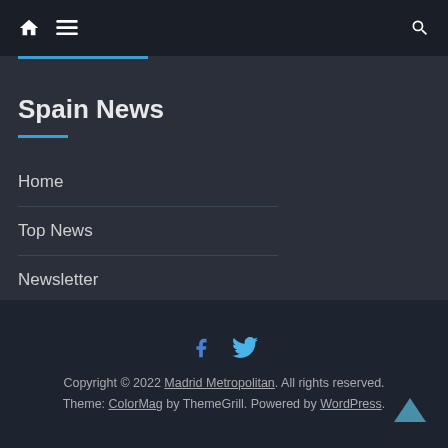Navigation bar with home icon, menu icon, and search icon
Spain News
Home
Top News
Newsletter
Copyright © 2022 Madrid Metropolitan. All rights reserved. Theme: ColorMag by ThemeGrill. Powered by WordPress.